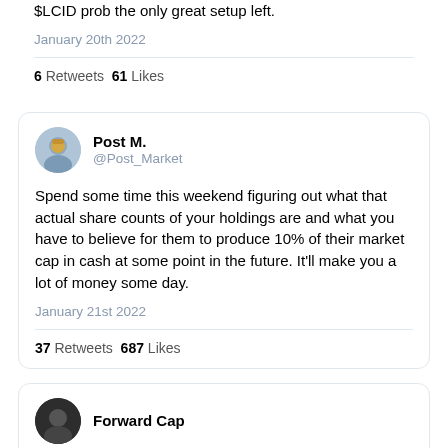$LCID prob the only great setup left.
January 20th 2022
6 Retweets  61 Likes
Post M. @Post_Market
Spend some time this weekend figuring out what that actual share counts of your holdings are and what you have to believe for them to produce 10% of their market cap in cash at some point in the future. It'll make you a lot of money some day.
January 21st 2022
37 Retweets  687 Likes
Forward Cap